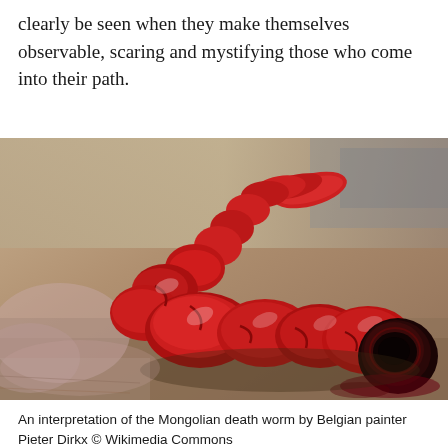clearly be seen when they make themselves observable, scaring and mystifying those who come into their path.
[Figure (illustration): An oil painting depicting a large red segmented worm (Mongolian death worm) with a rounded dark mouth end, coiled on a sandy/rocky desert ground, painted in realistic style.]
An interpretation of the Mongolian death worm by Belgian painter Pieter Dirkx © Wikimedia Commons